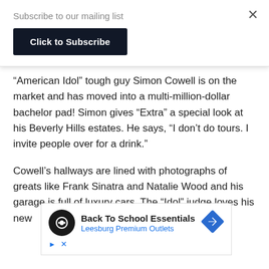Subscribe to our mailing list
Click to Subscribe
“American Idol” tough guy Simon Cowell is on the market and has moved into a multi-million-dollar bachelor pad! Simon gives “Extra” a special look at his Beverly Hills estates. He says, “I don’t do tours. I invite people over for a drink.”
Cowell’s hallways are lined with photographs of greats like Frank Sinatra and Natalie Wood and his garage is full of luxury cars. The “Idol” judge loves his new
[Figure (other): Advertisement banner for Back To School Essentials at Leesburg Premium Outlets, featuring a black circular logo with a map/direction icon, text headline, and a blue diamond navigation arrow icon.]